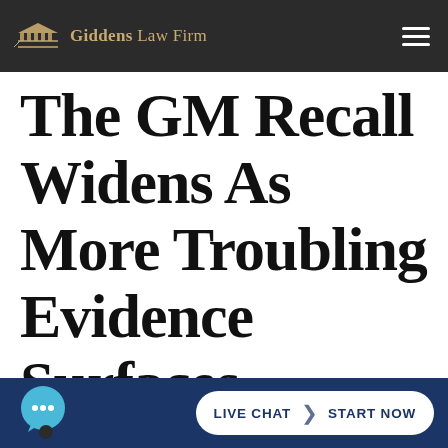Giddens Law Firm
The GM Recall Widens As More Troubling Evidence Surfaces
LIVE CHAT | START NOW